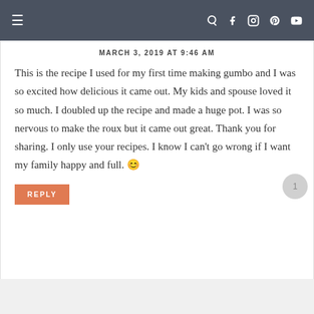navigation bar with hamburger menu and social icons
MARCH 3, 2019 AT 9:46 AM
This is the recipe I used for my first time making gumbo and I was so excited how delicious it came out. My kids and spouse loved it so much. I doubled up the recipe and made a huge pot. I was so nervous to make the roux but it came out great. Thank you for sharing. I only use your recipes. I know I can't go wrong if I want my family happy and full. 😊
REPLY